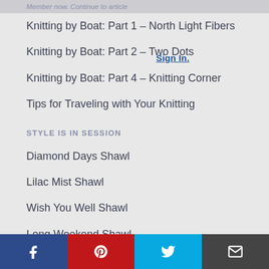Member now. Continue to article
Knitting by Boat: Part 1 – North Light Fibers
Knitting by Boat: Part 2 – Two Dots
Sign In.
Knitting by Boat: Part 4 – Knitting Corner
Tips for Traveling with Your Knitting
STYLE IS IN SESSION
Diamond Days Shawl
Lilac Mist Shawl
Wish You Well Shawl
Long Weekend Shawl
Autumn Snap Shawl
Wonderland Shawl
Facebook | Pinterest | Twitter | Email